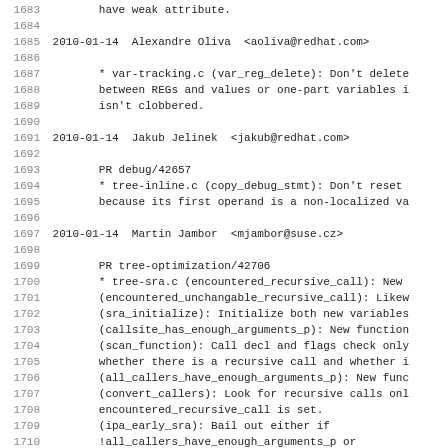1683    have weak attribute.
1684
1685 2010-01-14  Alexandre Oliva  <aoliva@redhat.com>
1686
1687        * var-tracking.c (var_reg_delete): Don't delete
1688        between REGs and values or one-part variables i
1689        isn't clobbered.
1690
1691 2010-01-14  Jakub Jelinek  <jakub@redhat.com>
1692
1693        PR debug/42657
1694        * tree-inline.c (copy_debug_stmt): Don't reset
1695        because its first operand is a non-localized va
1696
1697 2010-01-14  Martin Jambor  <mjambor@suse.cz>
1698
1699        PR tree-optimization/42706
1700        * tree-sra.c (encountered_recursive_call): New
1701        (encountered_unchangable_recursive_call): Likew
1702        (sra_initialize): Initialize both new variables
1703        (callsite_has_enough_arguments_p): New function
1704        (scan_function): Call decl and flags check only
1705        whether there is a recursive call and whether i
1706        (all_callers_have_enough_arguments_p): New func
1707        (convert_callers): Look for recursive calls onl
1708        encountered_recursive_call is set.
1709        (ipa_early_sra): Bail out either if
1710        !all_callers_have_enough_arguments_p or
1711        encountered_unchangable_recursive_call.
1712
1713 2010-01-14  Alexander Monakov  <amonakov@ispras.ru>
1714